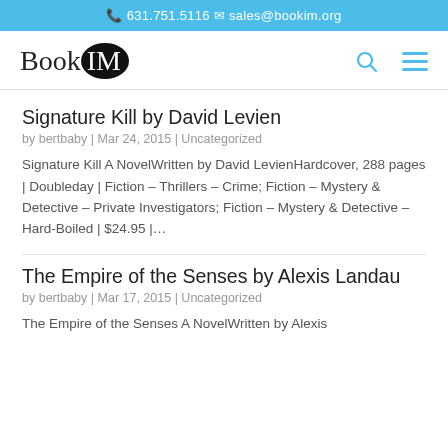📞 631.751.5116  ✉ sales@bookim.org
[Figure (logo): BookIM logo with 'IM' in a black circle, search icon, and hamburger menu icon]
Signature Kill by David Levien
by bertbaby | Mar 24, 2015 | Uncategorized
Signature Kill A NovelWritten by David LevienHardcover, 288 pages | Doubleday | Fiction – Thrillers – Crime; Fiction – Mystery & Detective – Private Investigators; Fiction – Mystery & Detective – Hard-Boiled | $24.95 |...
The Empire of the Senses by Alexis Landau
by bertbaby | Mar 17, 2015 | Uncategorized
The Empire of the Senses A NovelWritten by Alexis